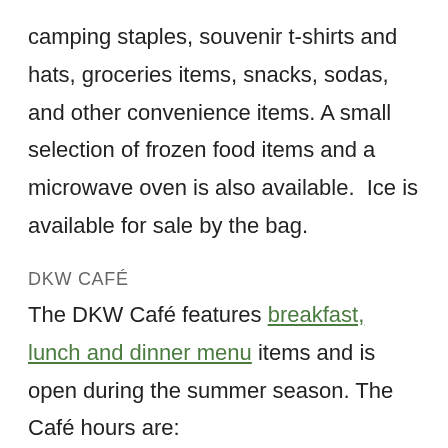camping staples, souvenir t-shirts and hats, groceries items, snacks, sodas, and other convenience items. A small selection of frozen food items and a microwave oven is also available.  Ice is available for sale by the bag.
DKW CAFÉ
The DKW Café features breakfast, lunch and dinner menu items and is open during the summer season. The Café hours are:
Friday: 4:00 pm – 8:00 pm
Saturday: 9:00 am – 8:00 pm